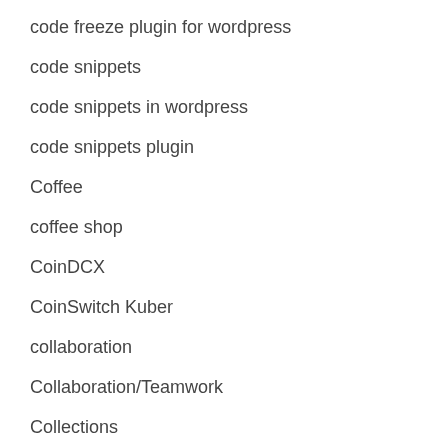code freeze plugin for wordpress
code snippets
code snippets in wordpress
code snippets plugin
Coffee
coffee shop
CoinDCX
CoinSwitch Kuber
collaboration
Collaboration/Teamwork
Collections
College